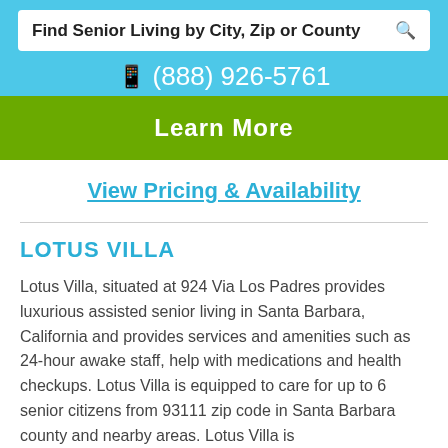Find Senior Living by City, Zip or County
(888) 926-5761
Learn More
View Pricing & Availability
LOTUS VILLA
Lotus Villa, situated at 924 Via Los Padres provides luxurious assisted senior living in Santa Barbara, California and provides services and amenities such as 24-hour awake staff, help with medications and health checkups. Lotus Villa is equipped to care for up to 6 senior citizens from 93111 zip code in Santa Barbara county and nearby areas. Lotus Villa is